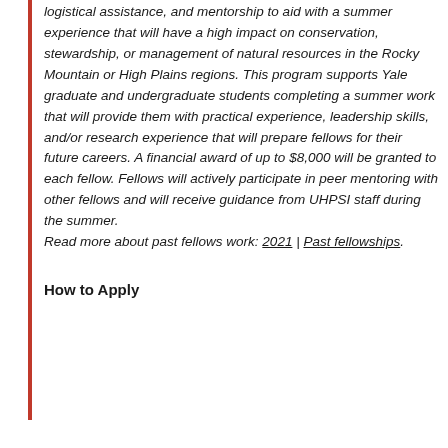logistical assistance, and mentorship to aid with a summer experience that will have a high impact on conservation, stewardship, or management of natural resources in the Rocky Mountain or High Plains regions. This program supports Yale graduate and undergraduate students completing a summer work that will provide them with practical experience, leadership skills, and/or research experience that will prepare fellows for their future careers. A financial award of up to $8,000 will be granted to each fellow. Fellows will actively participate in peer mentoring with other fellows and will receive guidance from UHPSI staff during the summer.
Read more about past fellows work: 2021 | Past fellowships.
How to Apply